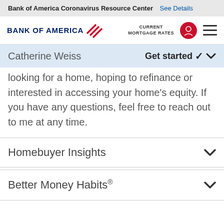Bank of America Coronavirus Resource Center  See Details
[Figure (logo): Bank of America logo with flag icon, CURRENT MORTGAGE RATES label, user icon (red circle), and hamburger menu icon]
Catherine Weiss    Get started ∨
looking for a home, hoping to refinance or interested in accessing your home's equity. If you have any questions, feel free to reach out to me at any time.
Homebuyer Insights
Better Money Habits®